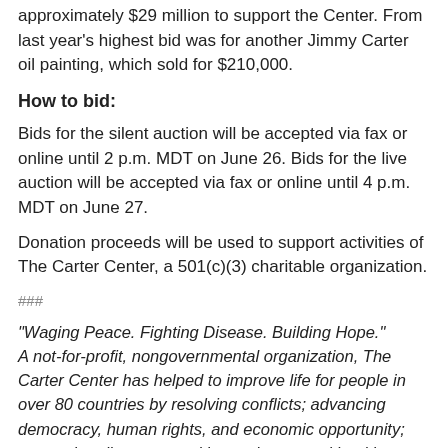approximately $29 million to support the Center. From last year's highest bid was for another Jimmy Carter oil painting, which sold for $210,000.
How to bid:
Bids for the silent auction will be accepted via fax or online until 2 p.m. MDT on June 26. Bids for the live auction will be accepted via fax or online until 4 p.m. MDT on June 27.
Donation proceeds will be used to support activities of The Carter Center, a 501(c)(3) charitable organization.
###
“Waging Peace. Fighting Disease. Building Hope.” A not-for-profit, nongovernmental organization, The Carter Center has helped to improve life for people in over 80 countries by resolving conflicts; advancing democracy, human rights, and economic opportunity; preventing diseases; and improving mental health care. The Carter Center was founded in 1982 by former U.S. President Jimmy Carter and former First Lady Rosalynn Carter, in partnership